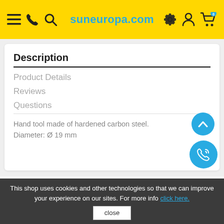suneuropa.com
Description
Product Details
Reviews
Questions
Hand tool made of hardened carbon steel. Diameter: Ø 19 mm
This shop uses cookies and other technologies so that we can improve your experience on our sites. For more info click here.